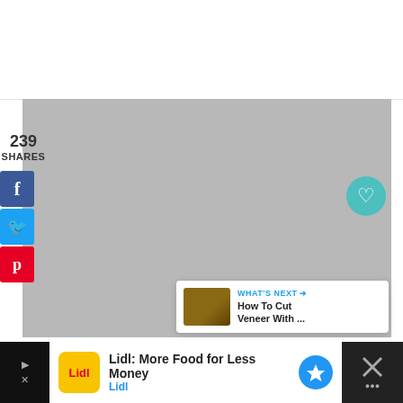[Figure (other): Top white header area of webpage]
[Figure (photo): Large gray placeholder image area for main article content]
239
SHARES
[Figure (infographic): Social share buttons: Facebook (f), Twitter bird, Pinterest (p)]
[Figure (infographic): Heart/like button (teal, 241 count) and share icon button]
[Figure (screenshot): WHAT'S NEXT panel: thumbnail of wood veneer project, text 'How To Cut Veneer With ...']
[Figure (infographic): Advertisement bar: Lidl: More Food for Less Money, Lidl branding]